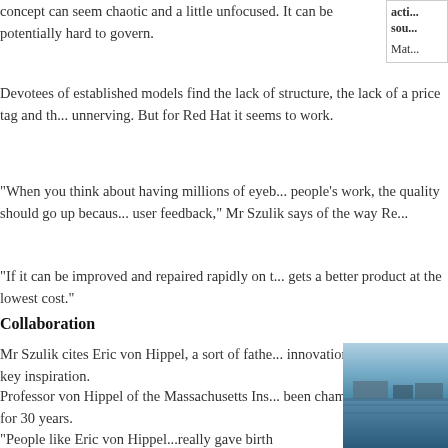concept can seem chaotic and a little unfocused. It can be potentially hard to govern.
act... sou...
Mat...
Devotees of established models find the lack of structure, the lack of a price tag and th... unnerving. But for Red Hat it seems to work.
"When you think about having millions of eyeb... people's work, the quality should go up becaus... user feedback," Mr Szulik says of the way Re...
"If it can be improved and repaired rapidly on t... gets a better product at the lowest cost."
Collaboration
Mr Szulik cites Eric von Hippel, a sort of fathe... innovation movement, as a key inspiration.
Professor von Hippel of the Massachusetts Ins... been championing his idea for 30 years.
"People like Eric von Hippel...really gave birth to this whole idea of free openness, of collaboration and rapid rates of innovation."
[Figure (photo): A photo showing what appears to be a waterfront or outdoor scene with water and structures visible.]